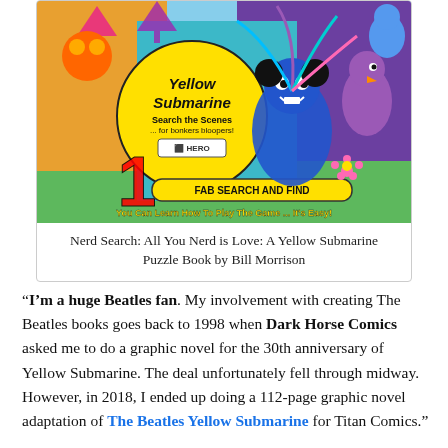[Figure (illustration): Book cover of 'Yellow Submarine: Search the Scenes ... for bonkers bloopers!' by Hero Collector. Features colorful psychedelic animated characters from the Yellow Submarine film. Yellow circle with title text, characters in blue, purple, and other vivid colors. Banner reads 'FAB SEARCH AND FIND' and 'You Can Learn How To Play The Game ... It's Easy!']
Nerd Search: All You Nerd is Love: A Yellow Submarine Puzzle Book by Bill Morrison
“I’m a huge Beatles fan. My involvement with creating The Beatles books goes back to 1998 when Dark Horse Comics asked me to do a graphic novel for the 30th anniversary of Yellow Submarine. The deal unfortunately fell through midway. However, in 2018, I ended up doing a 112-page graphic novel adaptation of The Beatles Yellow Submarine for Titan Comics.”